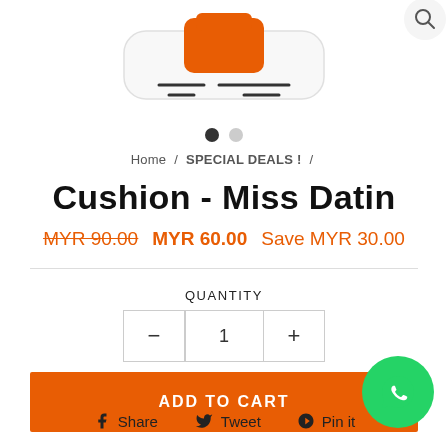[Figure (photo): Product image of Cushion - Miss Datin, partially visible at the top of the page]
Home / SPECIAL DEALS !
Cushion - Miss Datin
MYR 90.00  MYR 60.00  Save MYR 30.00
QUANTITY
- 1 +
ADD TO CART
Share  Tweet  Pin it